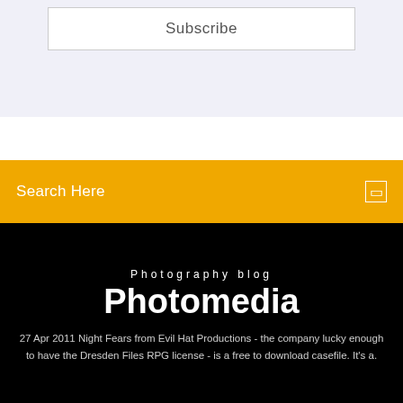Subscribe
Search Here
Photography blog
Photomedia
27 Apr 2011 Night Fears from Evil Hat Productions - the company lucky enough to have the Dresden Files RPG license - is a free to download casefile. It's a.